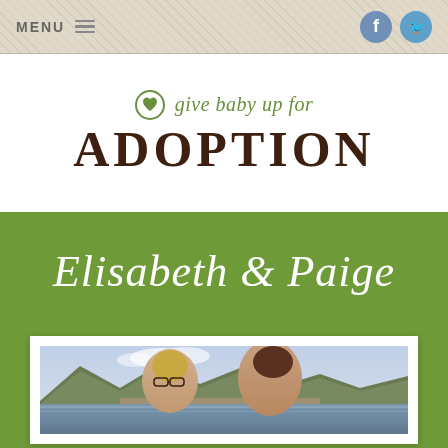MENU
give baby up for ADOPTION
Elisabeth & Paige
[Figure (photo): Two women posing together for a selfie outdoors near a waterfront, with mountains and a small town visible in the background under a cloudy sky.]